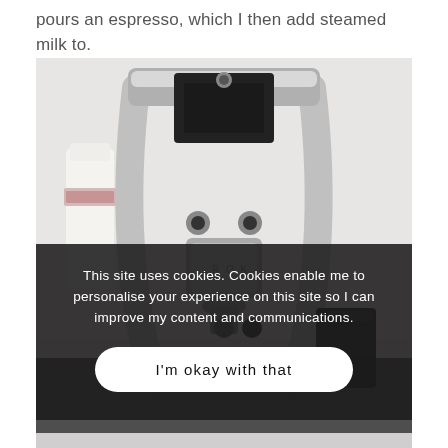pours an espresso, which I then add steamed milk to.
[Figure (photo): Close-up photo of a silver manual espresso machine (ROK or similar lever press) from above, with a white milk bottle to the left and a dark metal cup to the right, on a white surface. Lower portion overlaid with a dark cookie consent banner.]
This site uses cookies. Cookies enable me to personalise your experience on this site so I can improve my content and communications.
I'm okay with that